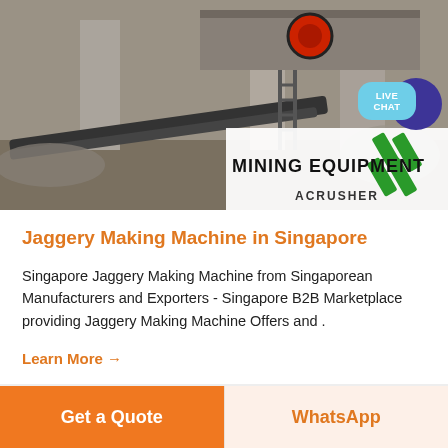[Figure (photo): Mining/crushing equipment at an industrial site with heavy machinery, conveyor belts, and concrete structures. Overlay in bottom-right shows 'MINING EQUIPMENT ACRUSHER' logo with green diagonal bar design. Blue live chat bubble visible in top-right.]
Jaggery Making Machine in Singapore
Singapore Jaggery Making Machine from Singaporean Manufacturers and Exporters - Singapore B2B Marketplace providing Jaggery Making Machine Offers and .
Learn More →